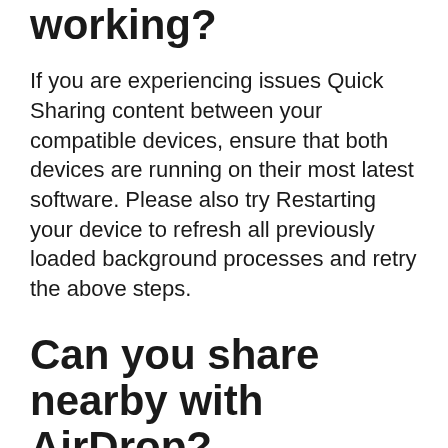working?
If you are experiencing issues Quick Sharing content between your compatible devices, ensure that both devices are running on their most latest software. Please also try Restarting your device to refresh all previously loaded background processes and retry the above steps.
Can you share nearby with AirDrop?
Which Android Phone Is Compatible With Nearby Share? The Nearby Share or AirDrop for Android is compatible with all Android devices running on Marshmallow/Android 6 software version or higher. The first version